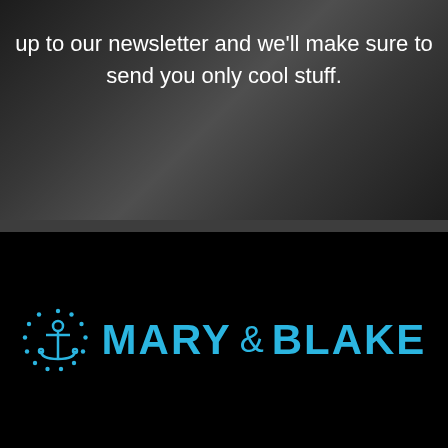up to our newsletter and we'll make sure to send you only cool stuff.
[Figure (logo): Mary & Blake brand logo with anchor icon on black background]
MARY & BLAKE